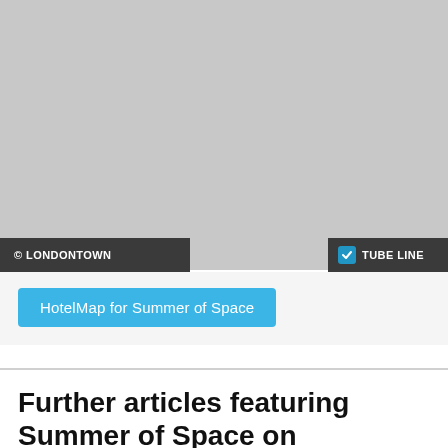[Figure (map): A grey placeholder map area showing a London map with tube line overlay. Bottom-left overlay reads '© LONDONTOWN' on dark background. Bottom-right overlay reads a checkmark icon followed by 'TUBE LINE' on dark background.]
HotelMap for Summer of Space
Further articles featuring Summer of Space on LondonTown.com